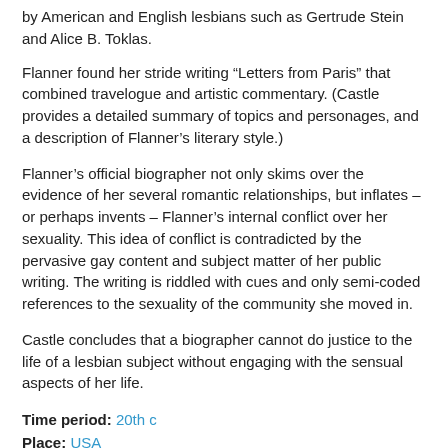by American and English lesbians such as Gertrude Stein and Alice B. Toklas.
Flanner found her stride writing “Letters from Paris” that combined travelogue and artistic commentary. (Castle provides a detailed summary of topics and personages, and a description of Flanner's literary style.)
Flanner’s official biographer not only skims over the evidence of her several romantic relationships, but inflates – or perhaps invents – Flanner’s internal conflict over her sexuality. This idea of conflict is contradicted by the pervasive gay content and subject matter of her public writing. The writing is riddled with cues and only semi-coded references to the sexuality of the community she moved in.
Castle concludes that a biographer cannot do justice to the life of a lesbian subject without engaging with the sensual aspects of her life.
Time period: 20th c
Place: USA
	France
View comments (0)